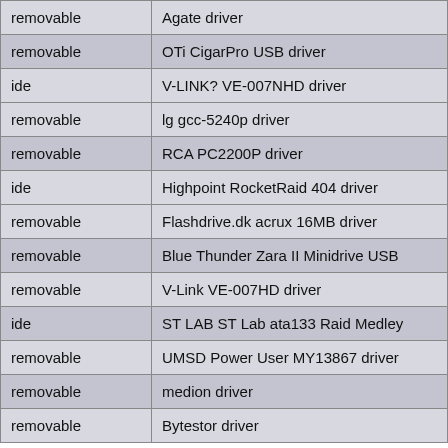| type | driver name |
| --- | --- |
| removable | Agate driver |
| removable | OTi CigarPro USB driver |
| ide | V-LINK? VE-007NHD driver |
| removable | lg gcc-5240p driver |
| removable | RCA PC2200P driver |
| ide | Highpoint RocketRaid 404 driver |
| removable | Flashdrive.dk acrux 16MB driver |
| removable | Blue Thunder Zara II Minidrive USB |
| removable | V-Link VE-007HD driver |
| ide | ST LAB ST Lab ata133 Raid Medley |
| removable | UMSD Power User MY13867 driver |
| removable | medion driver |
| removable | Bytestor driver |